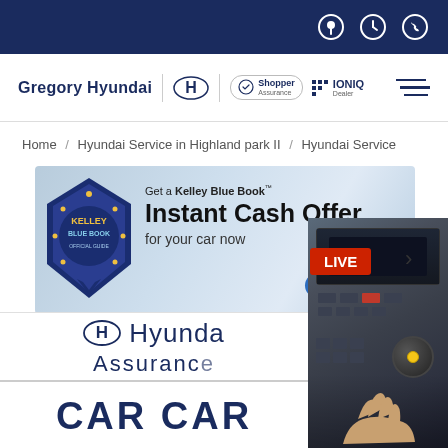Gregory Hyundai | Hyundai | Shopper Assurance | IONIQ Dealer
Home / Hyundai Service in Highland park II / Hyundai Service
[Figure (screenshot): Kelley Blue Book banner ad: Get a Kelley Blue Book Instant Cash Offer for your car now, with a GET MY OFFER button]
[Figure (screenshot): Hyundai Assurance logo with Hyundai H emblem and text, followed by CAR CARE text, overlaid with a car interior photo with LIVE badge]